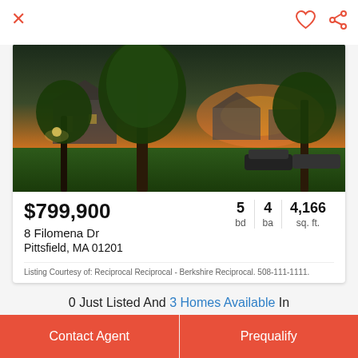[Figure (photo): Exterior photo of a house at dusk/sunset with green lawn and large trees in foreground, suburban neighborhood street visible]
$799,900
8 Filomena Dr
Pittsfield, MA 01201
5 bd   4 ba   4,166 sq. ft.
Listing Courtesy of: Reciprocal Reciprocal - Berkshire Reciprocal. 508-111-1111.
0 Just Listed And 3 Homes Available In Pittsfield, MA
Listing Courtesy of: Pitt Realty Group - HB Real Estate, LLC 413-213-5011.
Contact Agent
Prequalify